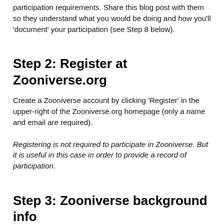participation requirements. Share this blog post with them so they understand what you would be doing and how you'll 'document' your participation (see Step 8 below).
Step 2: Register at Zooniverse.org
Create a Zooniverse account by clicking 'Register' in the upper-right of the Zooniverse.org homepage (only a name and email are required).
Registering is not required to participate in Zooniverse. But it is useful in this case in order to provide a record of participation.
Step 3: Zooniverse background info
Watch this brief animation and video for background/context about the Zooniverse, the world's largest platform for people-powered research, with 100